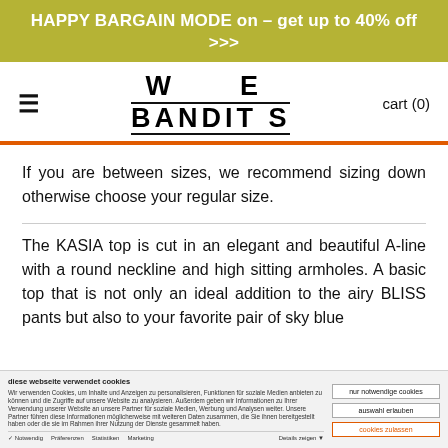HAPPY BARGAIN MODE on – get up to 40% off >>>
[Figure (logo): WE BANDITS logo with hamburger menu icon on left and cart (0) on right]
If you are between sizes, we recommend sizing down otherwise choose your regular size.
The KASIA top is cut in an elegant and beautiful A-line with a round neckline and high sitting armholes. A basic top that is not only an ideal addition to the airy BLISS pants but also to your favorite pair of sky blue
diese webseite verwendet cookies
Wir verwenden Cookies, um Inhalte und Anzeigen zu personalisieren, Funktionen für soziale Medien anbieten zu können und die Zugriffe auf unsere Website zu analysieren. Außerdem geben wir Informationen zu Ihrer Verwendung unserer Website an unsere Partner für soziale Medien, Werbung und Analysen weiter. Unsere Partner führen diese Informationen möglicherweise mit weiteren Daten zusammen, die Sie ihnen bereitgestellt haben oder die sie im Rahmen ihrer Nutzung der Dienste gesammelt haben.
nur notwendige cookies | auswahl erlauben | cookies zulassen